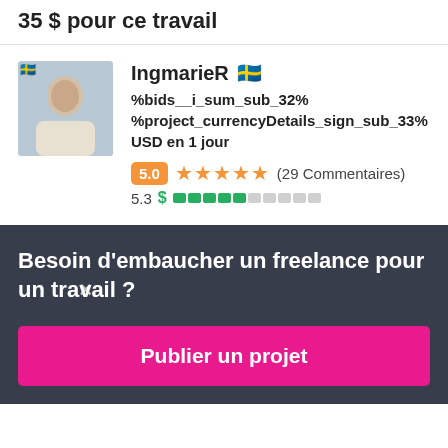35 $ pour ce travail
IngmarieR 🇸🇪 %bids__i_sum_sub_32% %project_currencyDetails_sign_sub_33% USD en 1 jour 5.0 ★★★★★ (29 Commentaires) 5.3
Besoin d'embaucher un freelance pour un travail ?
Publier un projet